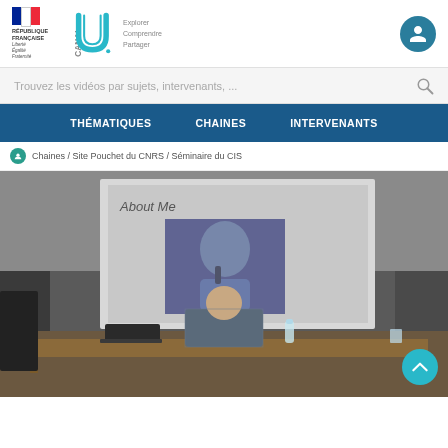[Figure (logo): République Française tricolor flag and text logo with Canal U logo (Explorer Comprendre Partager) and user account icon]
Trouvez les vidéos par sujets, intervenants, ...
THÉMATIQUES   CHAINES   INTERVENANTS
Chaines / Site Pouchet du CNRS / Séminaire du CIS
[Figure (photo): Seminar room photo showing a presenter sitting at a desk with a projection screen behind him displaying 'About Me' slide with a photo of a man singing into a microphone]